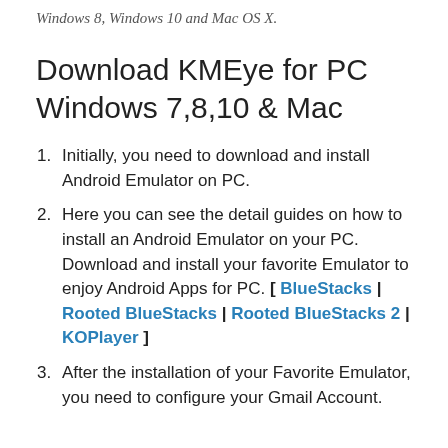Windows 8, Windows 10 and Mac OS X.
Download KMEye for PC Windows 7,8,10 & Mac
Initially, you need to download and install Android Emulator on PC.
Here you can see the detail guides on how to install an Android Emulator on your PC. Download and install your favorite Emulator to enjoy Android Apps for PC. [ BlueStacks | Rooted BlueStacks | Rooted BlueStacks 2 | KOPlayer ]
After the installation of your Favorite Emulator, you need to configure your Gmail Account.